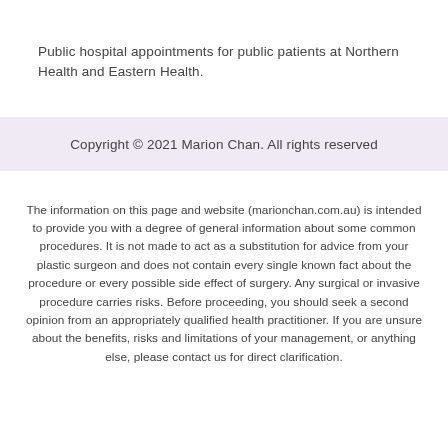Public hospital appointments for public patients at Northern Health and Eastern Health.
Copyright © 2021 Marion Chan. All rights reserved
The information on this page and website (marionchan.com.au) is intended to provide you with a degree of general information about some common procedures. It is not made to act as a substitution for advice from your plastic surgeon and does not contain every single known fact about the procedure or every possible side effect of surgery. Any surgical or invasive procedure carries risks. Before proceeding, you should seek a second opinion from an appropriately qualified health practitioner. If you are unsure about the benefits, risks and limitations of your management, or anything else, please contact us for direct clarification.